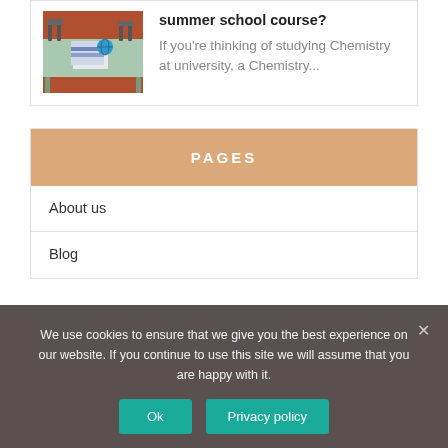[Figure (photo): Classroom photo showing desks, chairs, and notebooks on green tables]
summer school course? If you're thinking of studying Chemistry at university, a Chemistry...
PAGES
About us
Blog
We use cookies to ensure that we give you the best experience on our website. If you continue to use this site we will assume that you are happy with it.